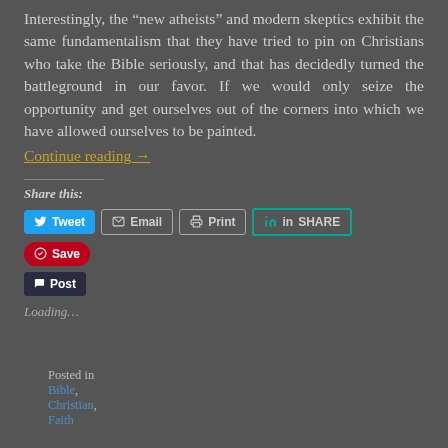Interestingly, the “new atheists” and modern skeptics exhibit the same fundamentalism that they have tried to pin on Christians who take the Bible seriously, and that has decidedly turned the battleground in our favor. If we would only seize the opportunity and get ourselves out of the corners into which we have allowed ourselves to be painted.
Continue reading →
Share this:
Tweet | Email | Print | SHARE | Save | Post
Loading…
Posted in Bible, Christian, Faith